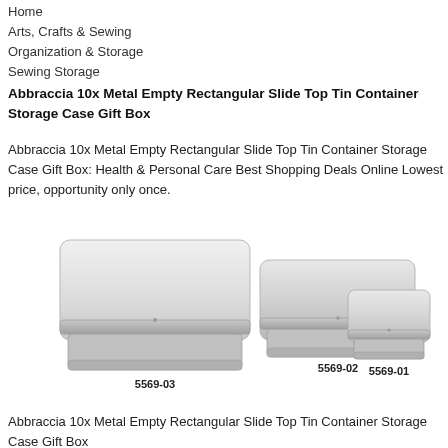Home
Arts, Crafts & Sewing
Organization & Storage
Sewing Storage
Abbraccia 10x Metal Empty Rectangular Slide Top Tin Container Storage Case Gift Box
Abbraccia 10x Metal Empty Rectangular Slide Top Tin Container Storage Case Gift Box: Health & Personal Care Best Shopping Deals Online Lowest price, opportunity only once.
[Figure (photo): Three metal rectangular slide top tin containers of different sizes labeled 5569-03 (largest), 5569-02 (medium), and 5569-01 (smallest), shown in silver/metallic finish.]
Abbraccia 10x Metal Empty Rectangular Slide Top Tin Container Storage Case Gift Box